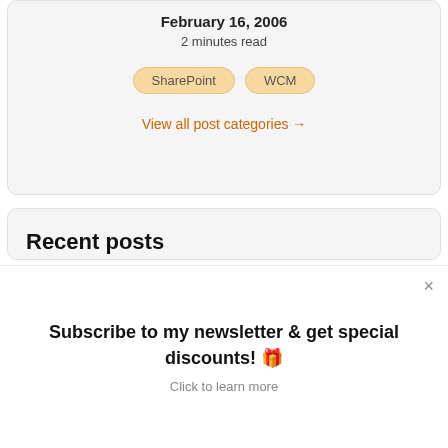February 16, 2006
2 minutes read
SharePoint
WCM
View all post categories →
Recent posts
CloudDev Clarity episode 6 - Our favorite Azure resources
Wednesday, August 17, 2022
Subscribe to my newsletter & get special discounts! 🎁
Click to learn more